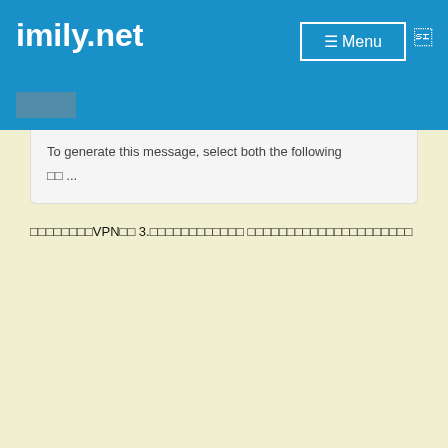imily.net
To generate this message, select both the following □□ ...
□□□□□□□□VPN□□ 3.□□□□□□□□□□□□ □□□□□□□□□□□□□□□□□□□□□